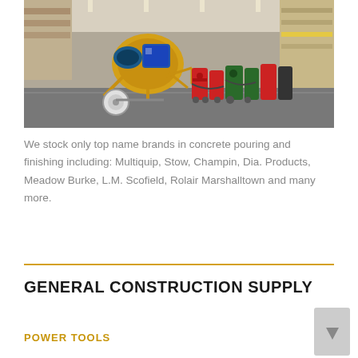[Figure (photo): Interior of a construction supply warehouse store showing a yellow cement mixer in the foreground and rows of heavy equipment including pumps and machinery along the aisle, with shelves of supplies visible in the background.]
We stock only top name brands in concrete pouring and finishing including: Multiquip, Stow, Champin, Dia. Products, Meadow Burke, L.M. Scofield, Rolair Marshalltown and many more.
GENERAL CONSTRUCTION SUPPLY
POWER TOOLS